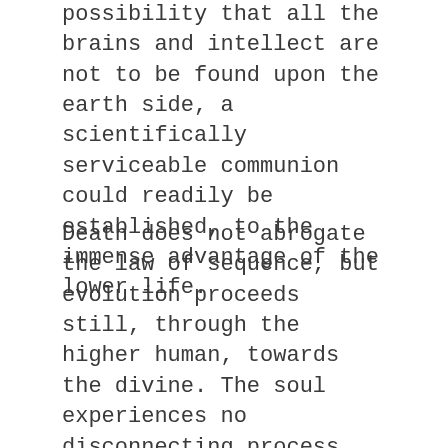possibility that all the brains and intellect are not to be found upon the earth side, a scientifically serviceable communion could readily be established, to the immense advantage of the lower life.
Death does not abrogate the law of sequence, but evolution proceeds still, through the higher human, towards the divine. The soul experiences no disconnecting process, takes no sudden leap, crosses no dividing line; it simply discovers a liberation from certain irksome limitations and takes wing. It loses nothing of value, but assimilates additional powers which supplement rather than displace those already possessed. Thus it is not less, but greater than before, having taken another step in the evolutionary ascent. The limitations and annoying barriers in the path of the progress of active minds